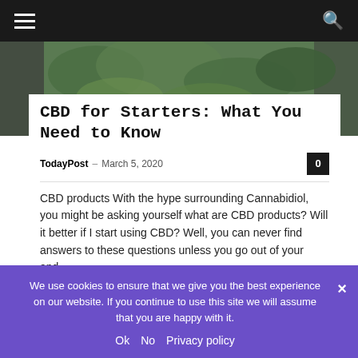[Figure (photo): Green plant background image (cannabis/hemp plants) behind article header area]
CBD for Starters: What You Need to Know
TodayPost - March 5, 2020
CBD products With the hype surrounding Cannabidiol, you might be asking yourself what are CBD products? Will it better if I start using CBD? Well, you can never find answers to these questions unless you go out of your and...
We use cookies to ensure that we give you the best experience on our website. If you continue to use this site we will assume that you are happy with it.
Ok   No   Privacy policy